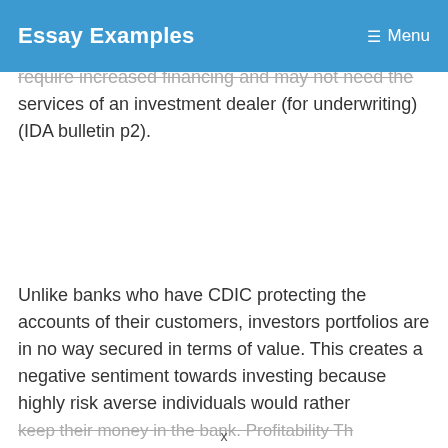Essay Examples   Menu
require increased financing and may not need the services of an investment dealer (for underwriting) (IDA bulletin p2).
Unlike banks who have CDIC protecting the accounts of their customers, investors portfolios are in no way secured in terms of value. This creates a negative sentiment towards investing because highly risk averse individuals would rather keep their money in the bank. Profitability Th...
x